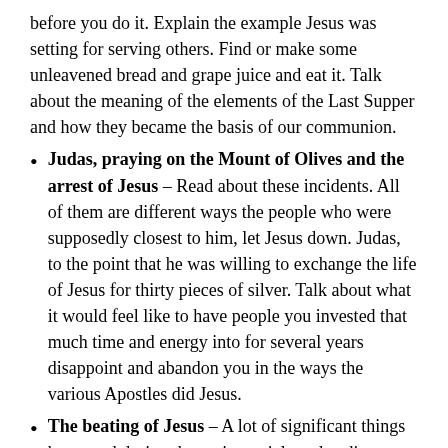before you do it. Explain the example Jesus was setting for serving others. Find or make some unleavened bread and grape juice and eat it. Talk about the meaning of the elements of the Last Supper and how they became the basis of our communion.
Judas, praying on the Mount of Olives and the arrest of Jesus – Read about these incidents. All of them are different ways the people who were supposedly closest to him, let Jesus down. Judas, to the point that he was willing to exchange the life of Jesus for thirty pieces of silver. Talk about what it would feel like to have people you invested that much time and energy into for several years disappoint and abandon you in the ways the various Apostles did Jesus.
The beating of Jesus – A lot of significant things happened during the various trials and audiences of Jesus. For your purposes at the moment, focus